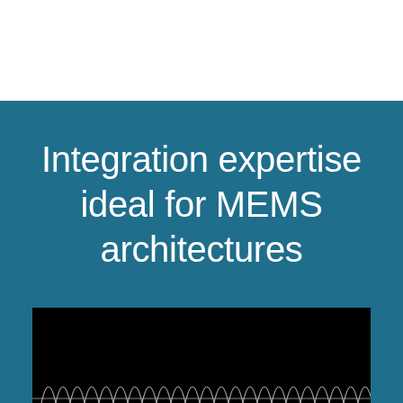Integration expertise ideal for MEMS architectures
[Figure (photo): Microscope image of MEMS device showing periodic comb-drive or resonator structures in dark background with bright white features at the bottom of the frame]